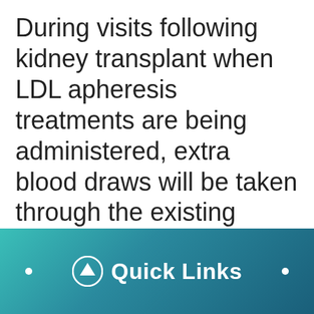During visits following kidney transplant when LDL apheresis treatments are being administered, extra blood draws will be taken through the existing catheter in place for the LDL apheresis treatment. The blood draws will be done 6 times over a period of 6 months
[Figure (other): Teal gradient navigation bar with 'Quick Links' label and an upward arrow icon, with two white dots on either side]